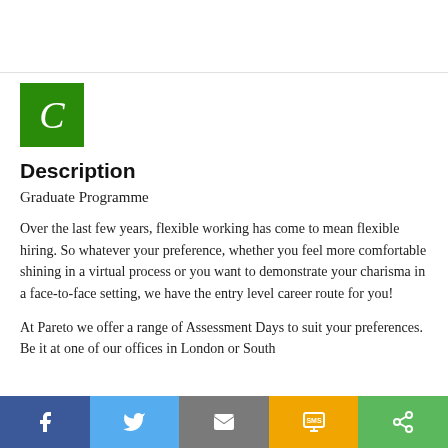[Figure (logo): Green square with white italic letter C — company logo]
Description
Graduate Programme
Over the last few years, flexible working has come to mean flexible hiring. So whatever your preference, whether you feel more comfortable shining in a virtual process or you want to demonstrate your charisma in a face-to-face setting, we have the entry level career route for you!
At Pareto we offer a range of Assessment Days to suit your preferences. Be it at one of our offices in London or South
[Figure (infographic): Social share bar with five buttons: Facebook (blue), Twitter (light blue), Email (grey), SMS (amber/yellow), Share (green)]